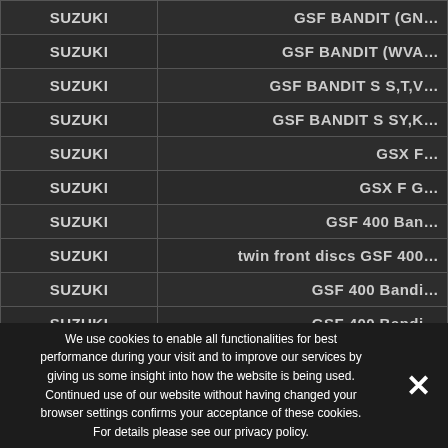| Make | Model |
| --- | --- |
| SUZUKI | GSF BANDIT (GN… |
| SUZUKI | GSF BANDIT (WVA… |
| SUZUKI | GSF BANDIT S S,T,V… |
| SUZUKI | GSF BANDIT S SY,K… |
| SUZUKI | GSX F… |
| SUZUKI | GSX F G… |
| SUZUKI | GSF 400 Ban… |
| SUZUKI | twin front discs GSF 400… |
| SUZUKI | GSF 400 Bandi… |
| SUZUKI | GSF 400 Bandi… |
| SUZUKI | GSF 400 Bandit V… |
We use cookies to enable all functionalities for best performance during your visit and to improve our services by giving us some insight into how the website is being used. Continued use of our website without having changed your browser settings confirms your acceptance of these cookies. For details please see our privacy policy.